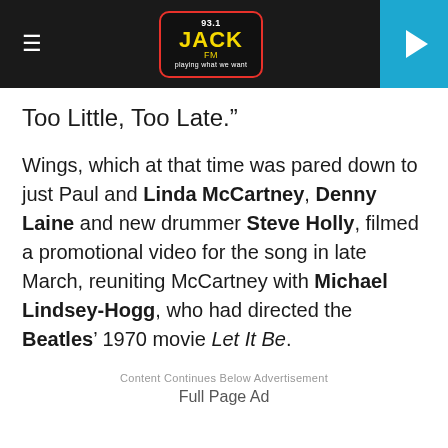93.1 JACK FM — playing what we want
Too Little, Too Late.”
Wings, which at that time was pared down to just Paul and Linda McCartney, Denny Laine and new drummer Steve Holly, filmed a promotional video for the song in late March, reuniting McCartney with Michael Lindsey-Hogg, who had directed the Beatles’ 1970 movie Let It Be.
Content Continues Below Advertisement
Full Page Ad